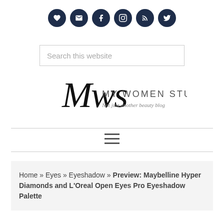[Figure (infographic): Row of 6 dark navy circular social media icon buttons: heart, email, Facebook, Instagram, RSS, Twitter]
[Figure (screenshot): Search box with placeholder text 'Search this website']
[Figure (logo): My Women Stuff logo - cursive Mws monogram with text MY WOMEN STUFF and tagline 'Not just another beauty blog']
[Figure (infographic): Hamburger menu icon (three horizontal lines)]
Home » Eyes » Eyeshadow » Preview: Maybelline Hyper Diamonds and L'Oreal Open Eyes Pro Eyeshadow Palette